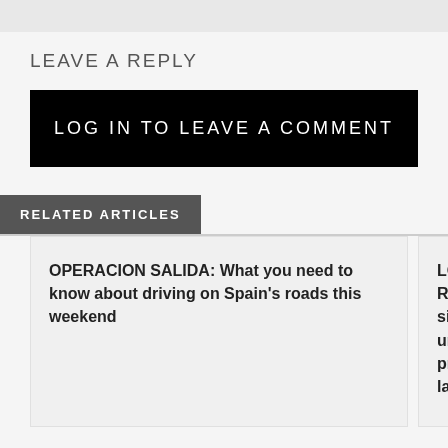LEAVE A REPLY
LOG IN TO LEAVE A COMMENT
RELATED ARTICLES
OPERACION SALIDA: What you need to know about driving on Spain's roads this weekend
LONG READ: W simply go und prostitution la
TODAY IN HOME